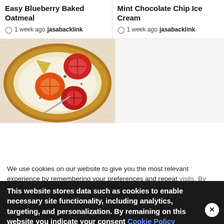Easy Blueberry Baked Oatmeal
1 week ago  jasabacklink
Mint Chocolate Chip Ice Cream
1 week ago  jasabacklink
[Figure (photo): A rustic tomato galette/tart with red and orange tomato slices on a golden pastry crust, photographed from above on parchment paper]
We use cookies on our website to give you the most relevant experience by remembering your preferences and repeat visits. By clicking "Accept All", you consent to the use of ALL t... provide a controlled consent.
This website stores data such as cookies to enable necessary site functionality, including analytics, targeting, and personalization. By remaining on this website you indicate your consent Cookie Policy